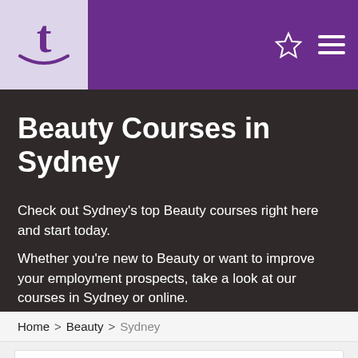t [logo] [star icon] [menu icon]
Beauty Courses in Sydney
Check out Sydney's top Beauty courses right here and start today.
Whether you're new to Beauty or want to improve your employment prospects, take a look at our courses in Sydney or online.
Home > Beauty > Sydney
Featured Provider